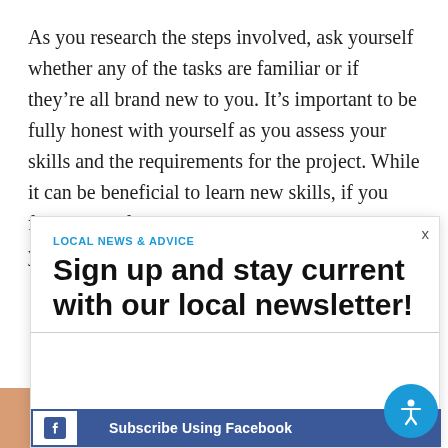As you research the steps involved, ask yourself whether any of the tasks are familiar or if they're all brand new to you. It's important to be fully honest with yourself as you assess your skills and the requirements for the project. While it can be beneficial to learn new skills, if you find yourself in over your head, you might regret your decision to DIY.
LOCAL NEWS & ADVICE
Sign up and stay current with our local newsletter!
Subscribe Using Facebook